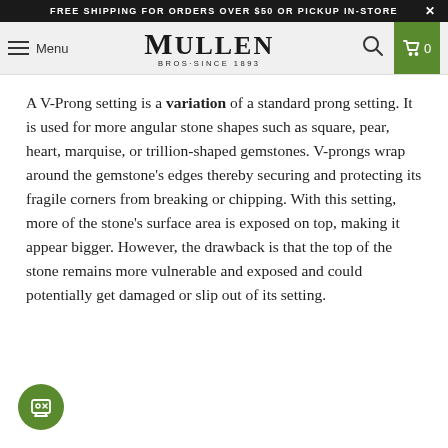FREE SHIPPING FOR ORDERS OVER $50 OR PICKUP IN-STORE ×
Menu | MULLEN BROS·SINCE 1893 | 🔍 | 🛒 0
A V-Prong setting is a variation of a standard prong setting. It is used for more angular stone shapes such as square, pear, heart, marquise, or trillion-shaped gemstones. V-prongs wrap around the gemstone's edges thereby securing and protecting its fragile corners from breaking or chipping. With this setting, more of the stone's surface area is exposed on top, making it appear bigger. However, the drawback is that the top of the stone remains more vulnerable and exposed and could potentially get damaged or slip out of its setting.